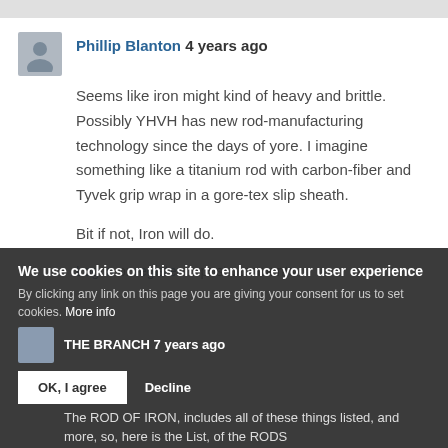Phillip Blanton 4 years ago
Seems like iron might kind of heavy and brittle. Possibly YHVH has new rod-manufacturing technology since the days of yore. I imagine something like a titanium rod with carbon-fiber and Tyvek grip wrap in a gore-tex slip sheath.

Bit if not, Iron will do.
Log in or register to post comments
We use cookies on this site to enhance your user experience
By clicking any link on this page you are giving your consent for us to set cookies. More info
THE BRANCH 7 years ago
The ROD OF IRON, includes all of these things listed, and more, so, here is the List, of the RODS